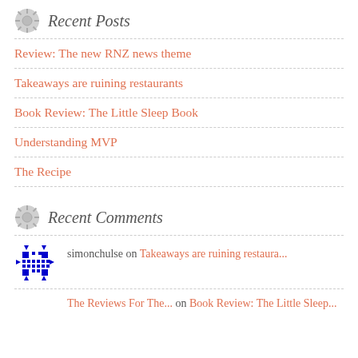Recent Posts
Review: The new RNZ news theme
Takeaways are ruining restaurants
Book Review: The Little Sleep Book
Understanding MVP
The Recipe
Recent Comments
simonchulse on Takeaways are ruining restaura...
The Reviews For The... on Book Review: The Little Sleep...